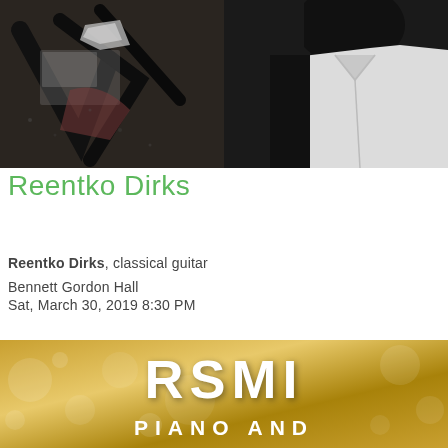[Figure (photo): Black and white photo of musician Reentko Dirks, split composition: left side shows dark graffiti wall with abstract black marks and torn posters, right side shows person in white button-up shirt against dark background]
Reentko Dirks
Reentko Dirks, classical guitar
Bennett Gordon Hall
Sat, March 30, 2019 8:30 PM
[Figure (photo): Gold/yellow bokeh background with bold white text reading RSMI and below it PIANO AND]